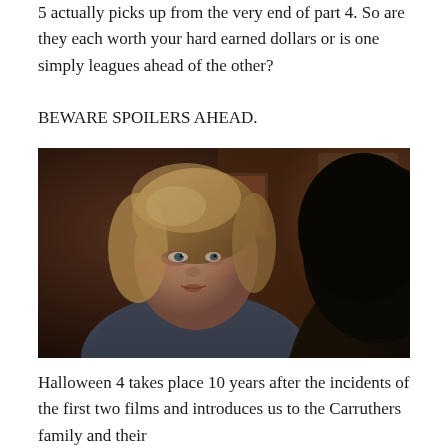5 actually picks up from the very end of part 4. So are they each worth your hard earned dollars or is one simply leagues ahead of the other?
BEWARE SPOILERS AHEAD.
[Figure (photo): A blonde woman in a grey sweater looking slightly off-camera, with a dark silhouette of another person in the foreground right, in an indoor setting with warm background tones. Scene appears to be from a film.]
Halloween 4 takes place 10 years after the incidents of the first two films and introduces us to the Carruthers family and their